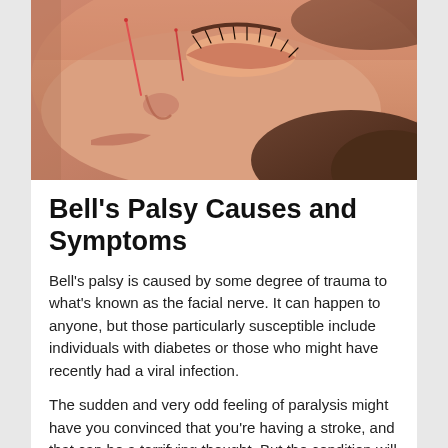[Figure (photo): Close-up photo of a person's face lying down with acupuncture needles inserted, eyes closed, with visible eyelashes and hair.]
Bell's Palsy Causes and Symptoms
Bell's palsy is caused by some degree of trauma to what's known as the facial nerve. It can happen to anyone, but those particularly susceptible include individuals with diabetes or those who might have recently had a viral infection.
The sudden and very odd feeling of paralysis might have you convinced that you're having a stroke, and that can be a terrifying thought. But the condition will be confined to one side of your face only, and it will eventually go away. A stroke, on the other hand, would most